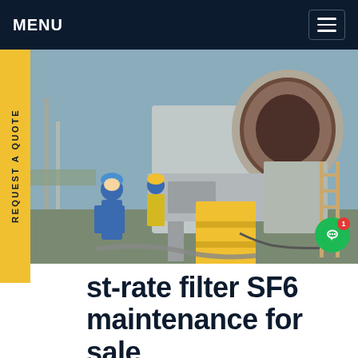MENU
[Figure (photo): Industrial SF6 gas maintenance workers in blue coveralls and hard hats working on large electrical switchgear equipment outdoors at a substation. Yellow step platform visible in foreground. Large circular flanged pipe openings visible on machinery.]
st-rate filter SF6 maintenance for sale
SafePlus uses SF6 (Sulfur hexafluoride) as an insulation and quenching medium. The SF6 is contained in a welded, stainless steel, sealed-for-life